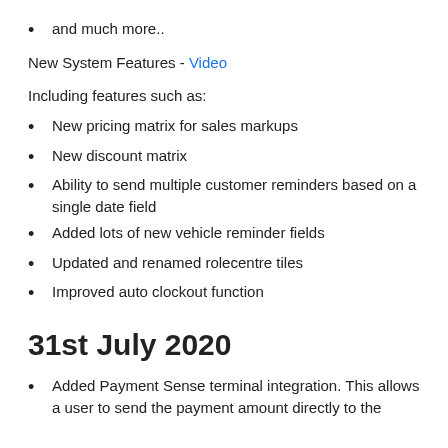and much more..
New System Features - Video
Including features such as:
New pricing matrix for sales markups
New discount matrix
Ability to send multiple customer reminders based on a single date field
Added lots of new vehicle reminder fields
Updated and renamed rolecentre tiles
Improved auto clockout function
31st July 2020
Added Payment Sense terminal integration. This allows a user to send the payment amount directly to the